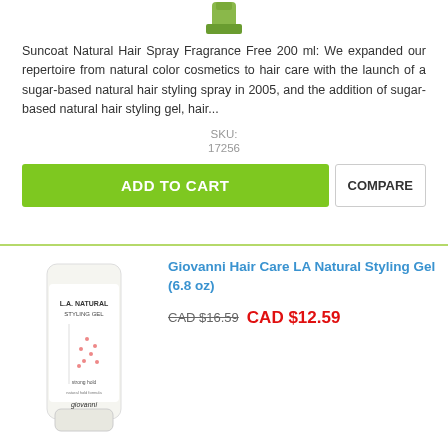[Figure (photo): Top partial view of a green hair spray product bottle (Suncoat Natural Hair Spray)]
Suncoat Natural Hair Spray Fragrance Free 200 ml: We expanded our repertoire from natural color cosmetics to hair care with the launch of a sugar-based natural hair styling spray in 2005, and the addition of sugar-based natural hair styling gel, hair...
SKU:
17256
ADD TO CART
COMPARE
[Figure (photo): Giovanni LA Natural Styling Gel tube product, white squeeze bottle with pink dot design]
Giovanni Hair Care LA Natural Styling Gel (6.8 oz)
CAD $16.59  CAD $12.59